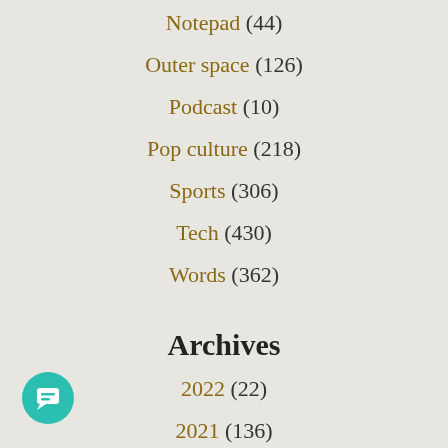Notepad (44)
Outer space (126)
Podcast (10)
Pop culture (218)
Sports (306)
Tech (430)
Words (362)
Archives
2022 (22)
2021 (136)
2020 (103)